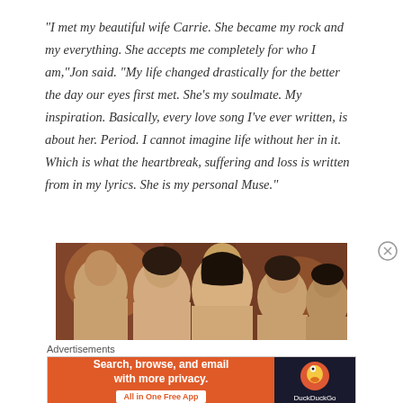“I met my beautiful wife Carrie. She became my rock and my everything. She accepts me completely for who I am,”Jon said. “My life changed drastically for the better the day our eyes first met. She’s my soulmate. My inspiration. Basically, every love song I’ve ever written, is about her. Period. I cannot imagine life without her in it. Which is what the heartbreak, suffering and loss is written from in my lyrics. She is my personal Muse.”
[Figure (photo): Group photo of several people including a young man with dark hair in the center, others around him, taken indoors with decorative wall in background]
Advertisements
[Figure (other): DuckDuckGo advertisement banner: orange left side with text 'Search, browse, and email with more privacy.' and 'All in One Free App', dark right side with DuckDuckGo duck logo and name]